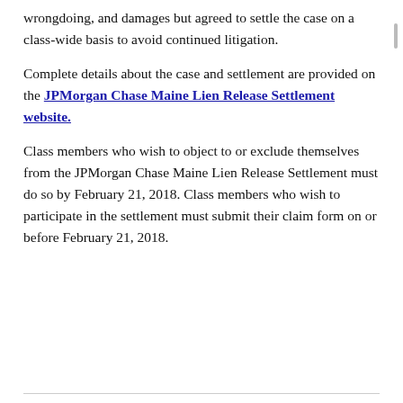wrongdoing, and damages but agreed to settle the case on a class-wide basis to avoid continued litigation.
Complete details about the case and settlement are provided on the JPMorgan Chase Maine Lien Release Settlement website.
Class members who wish to object to or exclude themselves from the JPMorgan Chase Maine Lien Release Settlement must do so by February 21, 2018. Class members who wish to participate in the settlement must submit their claim form on or before February 21, 2018.